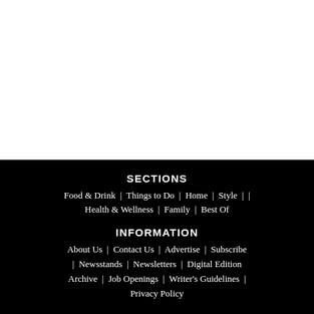[Figure (photo): White/blank area occupying the top portion of the page]
SECTIONS
Food & Drink  |  Things to Do  |  Home  |  Style  |  Health & Wellness  |  Family  |  Best Of
INFORMATION
About Us  |  Contact Us  |  Advertise  |  Subscribe  |  Newsstands  |  Newsletters  |  Digital Edition  Archive  |  Job Openings  |  Writer's Guidelines  |  Privacy Policy